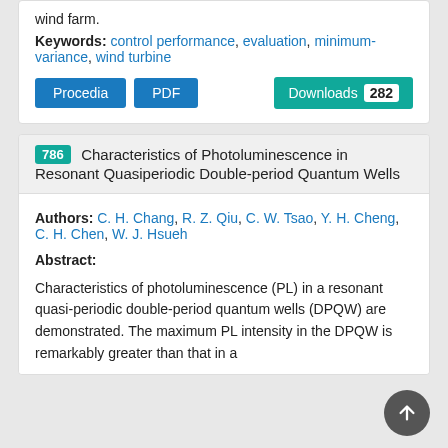wind farm.
Keywords: control performance, evaluation, minimum-variance, wind turbine
Procedia | PDF | Downloads 282
786 Characteristics of Photoluminescence in Resonant Quasiperiodic Double-period Quantum Wells
Authors: C. H. Chang, R. Z. Qiu, C. W. Tsao, Y. H. Cheng, C. H. Chen, W. J. Hsueh
Abstract:
Characteristics of photoluminescence (PL) in a resonant quasi-periodic double-period quantum wells (DPQW) are demonstrated. The maximum PL intensity in the DPQW is remarkably greater than that in a